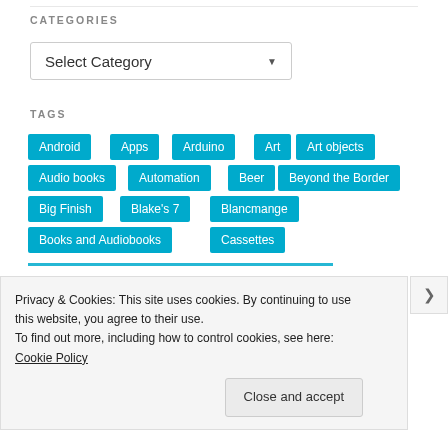CATEGORIES
Select Category
TAGS
Android
Apps
Arduino
Art
Art objects
Audio books
Automation
Beer
Beyond the Border
Big Finish
Blake's 7
Blancmange
Books and Audiobooks
Cassettes
Privacy & Cookies: This site uses cookies. By continuing to use this website, you agree to their use.
To find out more, including how to control cookies, see here: Cookie Policy
Close and accept